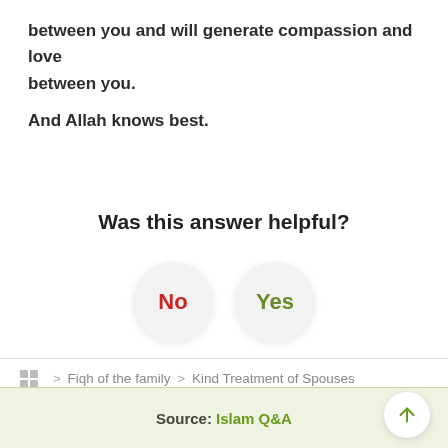between you and will generate compassion and love between you.
And Allah knows best.
Was this answer helpful?
[Figure (other): Two circular buttons labeled 'No' (red text) and 'Yes' (green text) for user feedback]
Fiqh of the family > Kind Treatment of Spouses
Source: Islam Q&A